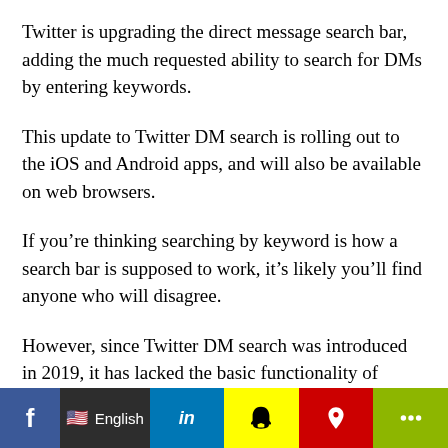Twitter is upgrading the direct message search bar, adding the much requested ability to search for DMs by entering keywords.
This update to Twitter DM search is rolling out to the iOS and Android apps, and will also be available on web browsers.
If you’re thinking searching by keyword is how a search bar is supposed to work, it’s likely you’ll find anyone who will disagree.
However, since Twitter DM search was introduced in 2019, it has lacked the basic functionality of searching by keyword.
Until now. Twitter users have only been able to search
f  English  in  [snapchat] [pinterest] [share]